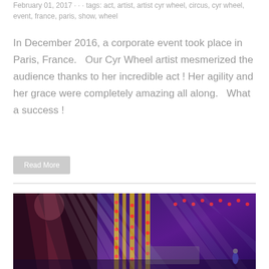February 01, 2017 · · · tags: act, artist, artist cyr wheel, circus, cyr wheel, event, france, paris, show, wheel
In December 2016, a corporate event took place in Paris, France.   Our Cyr Wheel artist mesmerized the audience thanks to her incredible act ! Her agility and her grace were completely amazing all along.   What a success !
Read More
[Figure (photo): Stage performance photo showing colorful stage lighting with beams of white, blue, and purple light emanating from stage rigging, with a performer visible in the background against a purple-lit stage backdrop.]